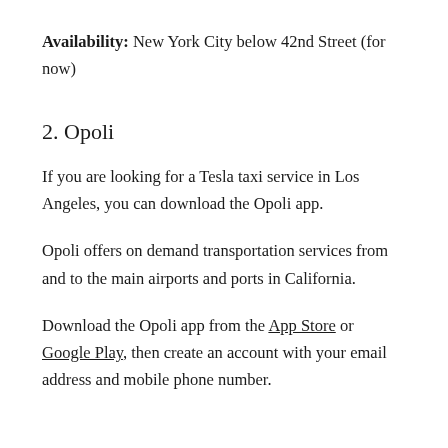Availability: New York City below 42nd Street (for now)
2. Opoli
If you are looking for a Tesla taxi service in Los Angeles, you can download the Opoli app.
Opoli offers on demand transportation services from and to the main airports and ports in California.
Download the Opoli app from the App Store or Google Play, then create an account with your email address and mobile phone number.